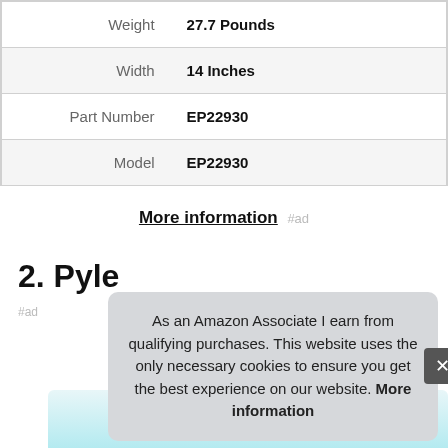| Attribute | Value |
| --- | --- |
| Weight | 27.7 Pounds |
| Width | 14 Inches |
| Part Number | EP22930 |
| Model | EP22930 |
More information #ad
2. Pyle
#ad
As an Amazon Associate I earn from qualifying purchases. This website uses the only necessary cookies to ensure you get the best experience on our website. More information
[Figure (photo): Partial view of a Pyle product image at the bottom of the page]